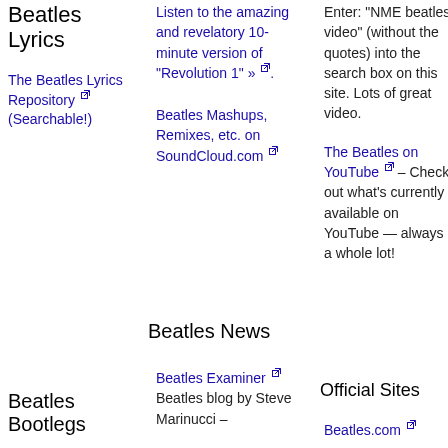Beatles Lyrics
The Beatles Lyrics Repository (Searchable!)
Listen to the amazing and revelatory 10-minute version of "Revolution 1" ».
Beatles Mashups, Remixes, etc. on SoundCloud.com
Enter: "NME beatles video" (without the quotes) into the search box on this site. Lots of great video.
The Beatles on YouTube – Check out what's currently available on YouTube — always a whole lot!
Beatles News
Beatles Bootlegs
Beatles Examiner Beatles blog by Steve Marinucci –
Official Sites
Beatles.com